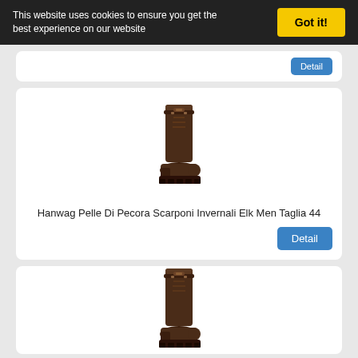This website uses cookies to ensure you get the best experience on our website
Got it!
[Figure (photo): Dark brown tall leather winter boot (Hanwag Elk Men) shown from the side against white background]
Hanwag Pelle Di Pecora Scarponi Invernali Elk Men Taglia 44
Detail
[Figure (photo): Dark brown tall leather winter boot (Hanwag Elk Men) shown from the side against white background — same model, different size]
Hanwag Pelle Di Pecora Scarponi Invernali Elk